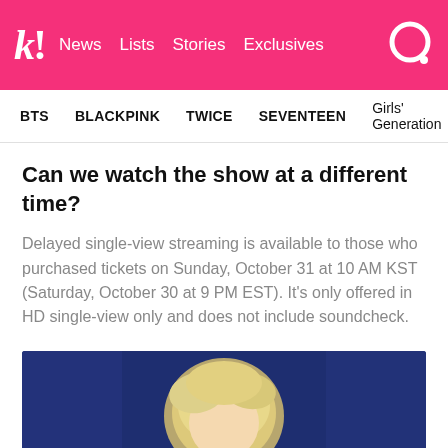kl! News  Lists  Stories  Exclusives
BTS  BLACKPINK  TWICE  SEVENTEEN  Girls' Generation
Can we watch the show at a different time?
Delayed single-view streaming is available to those who purchased tickets on Sunday, October 31 at 10 AM KST (Saturday, October 30 at 9 PM EST). It's only offered in HD single-view only and does not include soundcheck.
[Figure (photo): Photo of a performer with blonde/white hair on stage, blue background curtains visible]